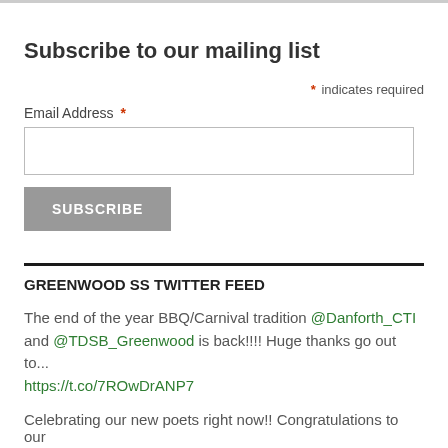Subscribe to our mailing list
* indicates required
Email Address *
SUBSCRIBE
GREENWOOD SS TWITTER FEED
The end of the year BBQ/Carnival tradition @Danforth_CTI and @TDSB_Greenwood is back!!!! Huge thanks go out to... https://t.co/7ROwDrANP7
Celebrating our new poets right now!! Congratulations to our